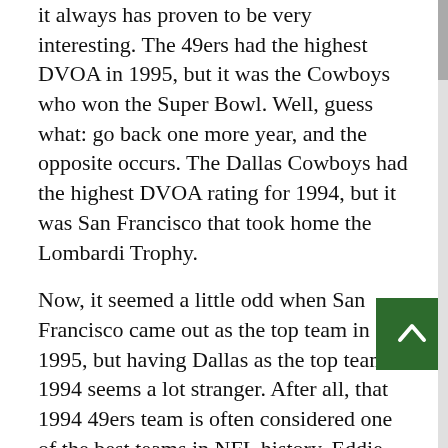it always has proven to be very interesting. The 49ers had the highest DVOA in 1995, but it was the Cowboys who won the Super Bowl. Well, guess what: go back one more year, and the opposite occurs. The Dallas Cowboys had the highest DVOA rating for 1994, but it was San Francisco that took home the Lombardi Trophy.
Now, it seemed a little odd when San Francisco came out as the top team in 1995, but having Dallas as the top team in 1994 seems a lot stranger. After all, that 1994 49ers team is often considered one of the best teams in NFL history. Eddie Epstein ranks them eighth in his book Dominance. What are they doing third in the DVOA ratings for 1994, behind Dallas and Pittsburgh?
The answer is all wrapped up in one game: Philadelphia 40, San Francisco 8 in Week 5. The Eagles outgained the 49ers 437 to 189 yards. Some